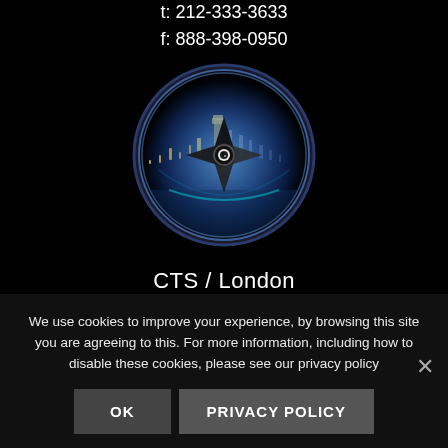t: 212-333-3633
f: 888-398-0950
[Figure (logo): CTS compass logo with city skyline (London at night) inside a circular frame]
CTS / London
A43-45 High Road
We use cookies to improve your experience, by browsing this site you are agreeing to this. For more information, including how to disable these cookies, please see our privacy policy
OK
PRIVACY POLICY